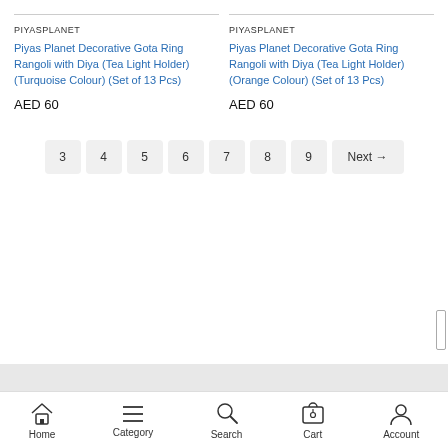PIYASPLANET
Piyas Planet Decorative Gota Ring Rangoli with Diya (Tea Light Holder) (Turquoise Colour) (Set of 13 Pcs)
AED 60
PIYASPLANET
Piyas Planet Decorative Gota Ring Rangoli with Diya (Tea Light Holder) (Orange Colour) (Set of 13 Pcs)
AED 60
3
4
5
6
7
8
9
Next →
Home  Category  Search  Cart  Account